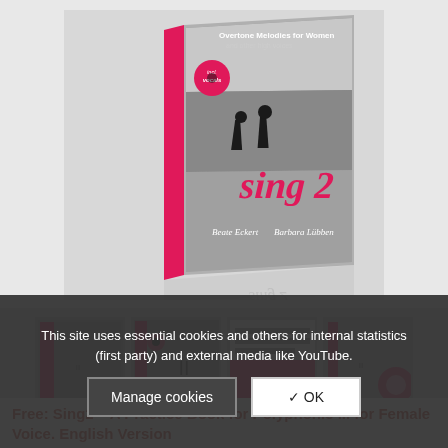[Figure (photo): 3D book cover of 'Sing 2 - Overtone Melodies for Women and other high voices' by Beate Eckert and Barbara Lübben, showing a black and white beach scene with two silhouetted figures, pink 'sing 2' title text, and a pink 'incl. vocals' badge]
[Figure (photo): Four thumbnail images of the book and its contents]
This site uses essential cookies and others for internal statistics (first party) and external media like YouTube.
Manage cookies  ✓ OK
Free: Sing2 – A Practice Book for Polyphonic ... for Female Voice. English Version